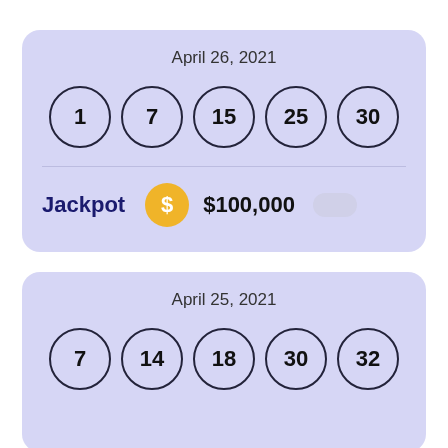[Figure (infographic): Lottery card for April 26, 2021 showing winning numbers 1, 7, 15, 25, 30 and Jackpot of $100,000]
[Figure (infographic): Lottery card for April 25, 2021 showing winning numbers 7, 14, 18, 30, 32]